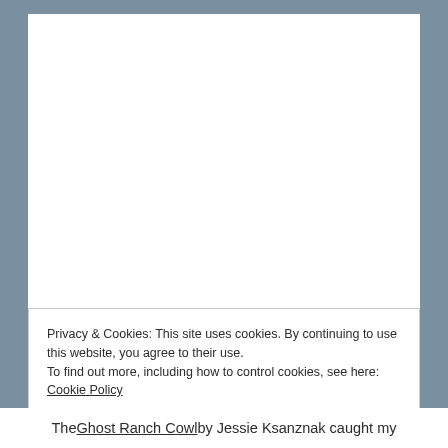[Figure (photo): White rectangular image/photo area shown as blank white background]
Privacy & Cookies: This site uses cookies. By continuing to use this website, you agree to their use.
To find out more, including how to control cookies, see here: Cookie Policy
Close and accept
The Ghost Ranch Cowl by Jessie Ksanznak caught my